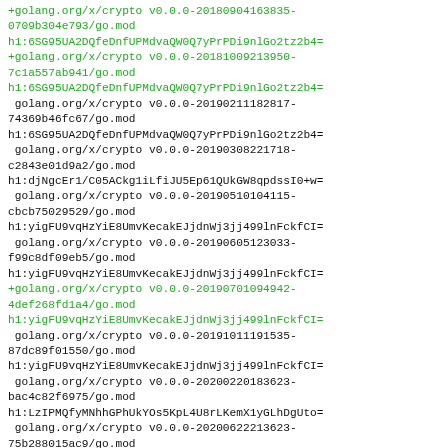+golang.org/x/crypto v0.0.0-20180904163835-0709b304e793/go.mod
h1:6SG95UA2DQfeDnfUPMdvaQW0Q7yPrPDi9nlGo2tz2b4=
+golang.org/x/crypto v0.0.0-20181009213950-7c1a557ab941/go.mod
h1:6SG95UA2DQfeDnfUPMdvaQW0Q7yPrPDi9nlGo2tz2b4=
 golang.org/x/crypto v0.0.0-20190211182817-74369b46fc67/go.mod
h1:6SG95UA2DQfeDnfUPMdvaQW0Q7yPrPDi9nlGo2tz2b4=
 golang.org/x/crypto v0.0.0-20190308221718-c2843e01d9a2/go.mod
h1:djNgcEr1/C05ACkg1iLfiJU5Ep61QUkGW8qpdssI0+w=
 golang.org/x/crypto v0.0.0-20190510104115-cbcb75029529/go.mod
h1:yigFU9vqHzYiE8UmvKecakEJjdnWj3jj499lnFckfCI=
 golang.org/x/crypto v0.0.0-20190605123033-f99c8df09eb5/go.mod
h1:yigFU9vqHzYiE8UmvKecakEJjdnWj3jj499lnFckfCI=
+golang.org/x/crypto v0.0.0-20190701094942-4def268fd1a4/go.mod
h1:yigFU9vqHzYiE8UmvKecakEJjdnWj3jj499lnFckfCI=
 golang.org/x/crypto v0.0.0-20191011191535-87dc89f01550/go.mod
h1:yigFU9vqHzYiE8UmvKecakEJjdnWj3jj499lnFckfCI=
 golang.org/x/crypto v0.0.0-20200220183623-bac4c82f6975/go.mod
h1:LzIPMQfyMNhhGPhUkYOs5KpL4U8rLKemX1yGLhDgUto=
 golang.org/x/crypto v0.0.0-20200622213623-75b288015ac9/go.mod
h1:LzIPMQfyMNhhGPhUkYOs5KpL4U8rLKemX1yGLhDgUto=